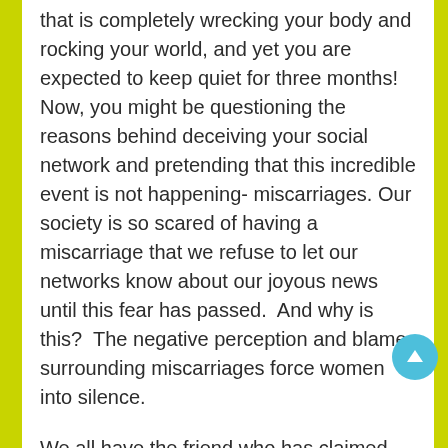that is completely wrecking your body and rocking your world, and yet you are expected to keep quiet for three months! Now, you might be questioning the reasons behind deceiving your social network and pretending that this incredible event is not happening- miscarriages. Our society is so scared of having a miscarriage that we refuse to let our networks know about our joyous news until this fear has passed.  And why is this?  The negative perception and blame surrounding miscarriages force women into silence.

We all have the friend who has claimed, “I’m just cutting back on wine,” or, “I’m not in the mood for brie cheese and deli meat” when, in fact, they’re pregnant. Come on, ladies, this mentality is archaic, and frankly is ridiculous!  I don’t care what the reason is- there is no point in deceiving your friends. If you’re pregnant,